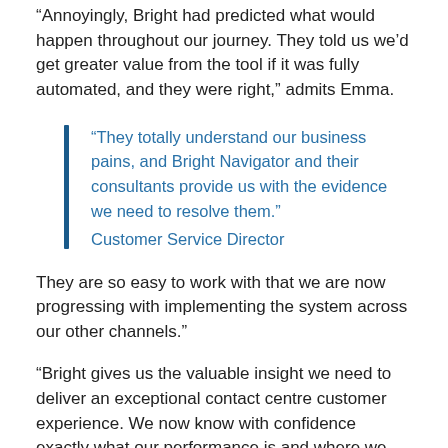“Annoyingly, Bright had predicted what would happen throughout our journey. They told us we’d get greater value from the tool if it was fully automated, and they were right,” admits Emma.
“They totally understand our business pains, and Bright Navigator and their consultants provide us with the evidence we need to resolve them.” Customer Service Director
They are so easy to work with that we are now progressing with implementing the system across our other channels.”
“Bright gives us the valuable insight we need to deliver an exceptional contact centre customer experience. We now know with confidence exactly what our performance is and where we need to focus to improve it. Bright is